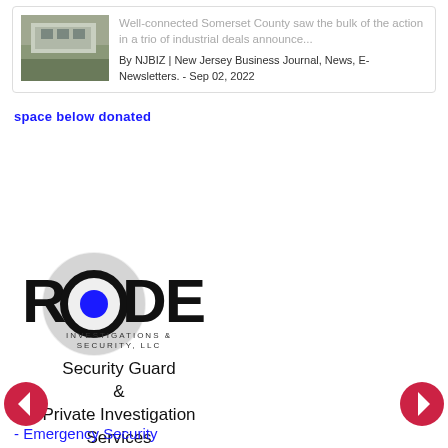[Figure (photo): Building exterior thumbnail photo]
Well-connected Somerset County saw the bulk of the action in a trio of industrial deals announce...
By NJBIZ | New Jersey Business Journal, News, E-Newsletters. - Sep 02, 2022
space below donated
[Figure (logo): RODE Investigations & Security, LLC logo with circular motif and blue dot]
Security Guard & Private Investigation Services
- Emergency Security Services
[Figure (other): Left navigation arrow button (red circle with white left arrow)]
[Figure (other): Right navigation arrow button (red circle with white right arrow)]